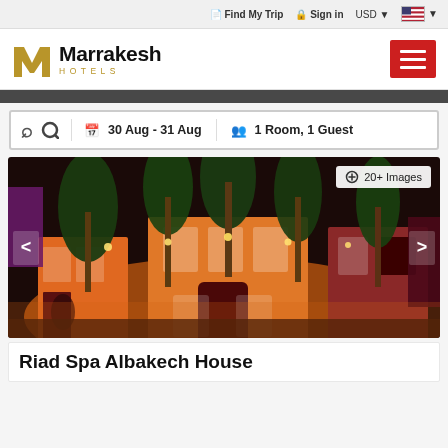Find My Trip   Sign in   USD   [US Flag]
[Figure (logo): Marrakesh Hotels logo with stylized M in gold and black text]
30 Aug - 31 Aug   1 Room, 1 Guest
[Figure (photo): Night-time courtyard photo of Riad Spa Albakech House showing illuminated orange building with palm trees]
Riad Spa Albakech House